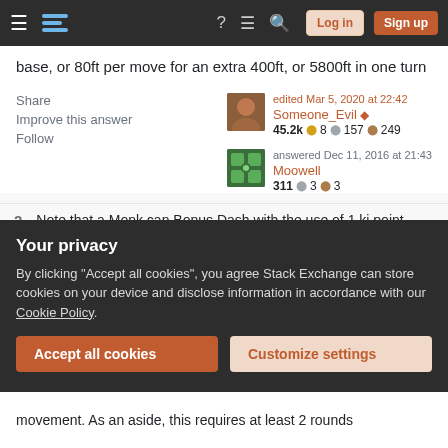Stack Exchange navigation bar with Log in and Sign up buttons
base, or 80ft per move for an extra 400ft, or 5800ft in one turn
Share
Improve this answer
Follow
edited Mar 5, 2020 at 22:42
Someone_Evil ◆
45.2k ● 8 ● 157 ● 249
answered Dec 11, 2016 at 21:43
Moowell
311 ● 3 ● 3
2  Note that a Monk can Bonus Dash with the use of 1 ki point,
Your privacy
By clicking "Accept all cookies", you agree Stack Exchange can store cookies on your device and disclose information in accordance with our Cookie Policy.
Accept all cookies    Customize settings
movement. As an aside, this requires at least 2 rounds